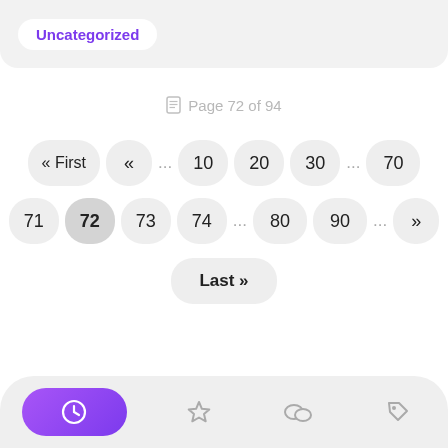Uncategorized
Page 72 of 94
« First  «  ...  10  20  30  ...  70  71  72  73  74  ...  80  90  ...  »  Last »